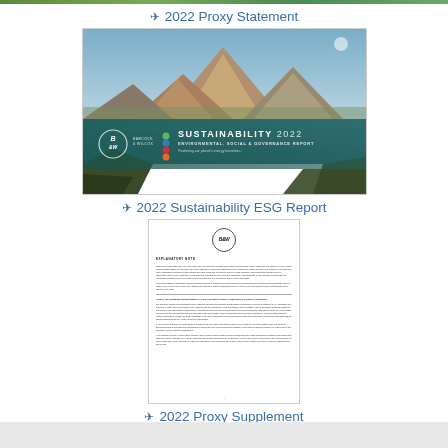[Figure (other): Green gradient top banner bar]
✈ 2022 Proxy Statement
[Figure (photo): Cover of Babcock & Wilcox Sustainability 2022 Environmental, Social & Governance Report showing mountain lake landscape with teal banner overlay containing B&W logo and report title]
✈ 2022 Sustainability ESG Report
[Figure (photo): Thumbnail of a document page showing B&W logo, 'EXPLANATORY NOTE' heading and dense text paragraphs with section heading 'PROXY STATEMENT: BURN ENERGY FOR THE 2022 ANNUAL MEETING OF STOCKHOLDERS']
✈ 2022 Proxy Supplement